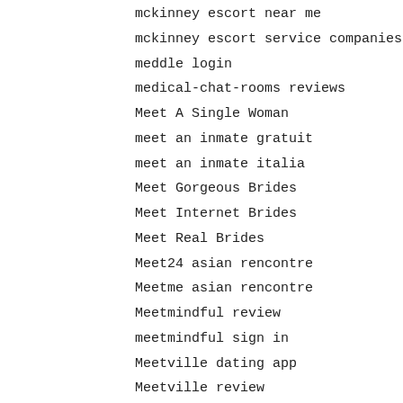mckinney escort near me
mckinney escort service companies
meddle login
medical-chat-rooms reviews
Meet A Single Woman
meet an inmate gratuit
meet an inmate italia
Meet Gorgeous Brides
Meet Internet Brides
Meet Real Brides
Meet24 asian rencontre
Meetme asian rencontre
Meetmindful review
meetmindful sign in
Meetville dating app
Meetville review
meetville-inceleme adult-dating
memphis what is an escort